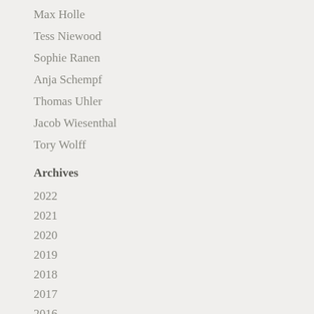Max Holle
Tess Niewood
Sophie Ranen
Anja Schempf
Thomas Uhler
Jacob Wiesenthal
Tory Wolff
Archives
2022
2021
2020
2019
2018
2017
2016
2015